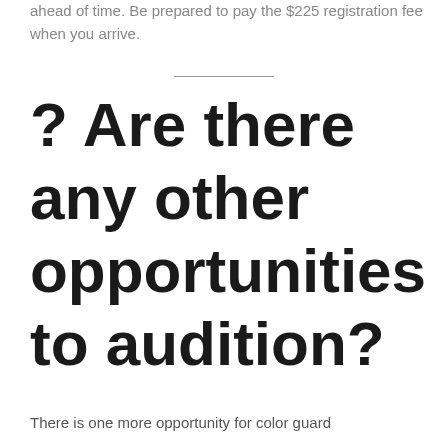ahead of time. Be prepared to pay the $225 registration fee when you arrive.
? Are there any other opportunities to audition?
There is one more opportunity for color guard